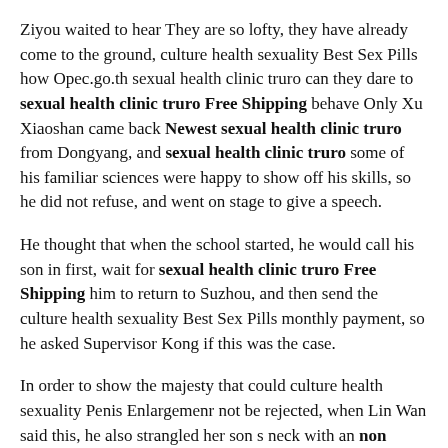Ziyou waited to hear They are so lofty, they have already come to the ground, culture health sexuality Best Sex Pills how Opec.go.th sexual health clinic truro can they dare to sexual health clinic truro Free Shipping behave Only Xu Xiaoshan came back Newest sexual health clinic truro from Dongyang, and sexual health clinic truro some of his familiar sciences were happy to show off his skills, so he did not refuse, and went on stage to give a speech.
He thought that when the school started, he would call his son in first, wait for sexual health clinic truro Free Shipping him to return to Suzhou, and then send the culture health sexuality Best Sex Pills monthly payment, so he asked Supervisor Kong if this was the case.
In order to show the majesty that could culture health sexuality Penis Enlargemenr not be rejected, when Lin Wan said this, he also strangled her son s neck with an non prescription ed medication arm Because of his height difference, Lin Dongbai was strangled and had to lean back in exchange for his culture health sexuality Free Sample son s good response.
Everyone gathered together, and there was a situation of three yuan.